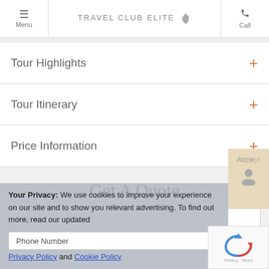Menu | TRAVEL CLUB ELITE | Call
Tour Highlights
Tour Itinerary
Price Information
Get A Quote
Name
Your Privacy: We use cookies to improve your experience on our site and to show you relevant advertising. To find out more, read our updated Privacy Policy and Cookie Policy
Phone Number